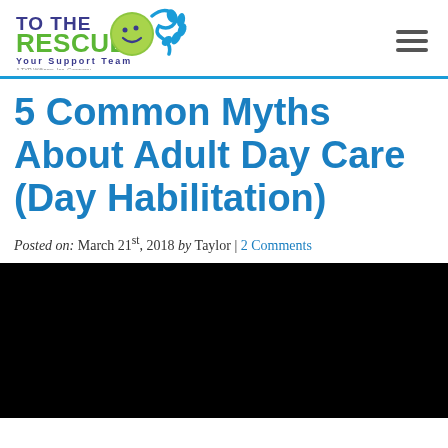To The Rescue - Your Support Team (logo) | hamburger menu icon
5 Common Myths About Adult Day Care (Day Habilitation)
Posted on: March 21st, 2018 by Taylor | 2 Comments
[Figure (photo): Black image/video placeholder at the bottom of the page]